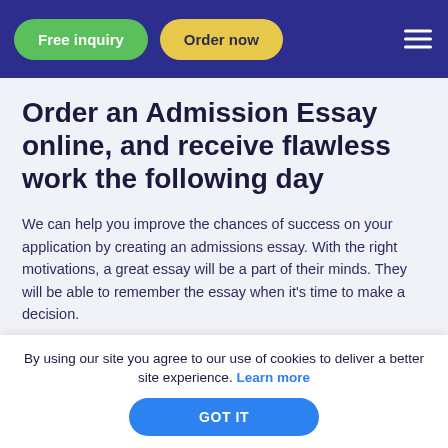Free inquiry | Order now
Order an Admission Essay online, and receive flawless work the following day
We can help you improve the chances of success on your application by creating an admissions essay. With the right motivations, a great essay will be a part of their minds. They will be able to remember the essay when it's time to make a decision.
It's secure and private to purchase an essay online. It's easy
By using our site you agree to our use of cookies to deliver a better site experience. Learn more
GOT IT